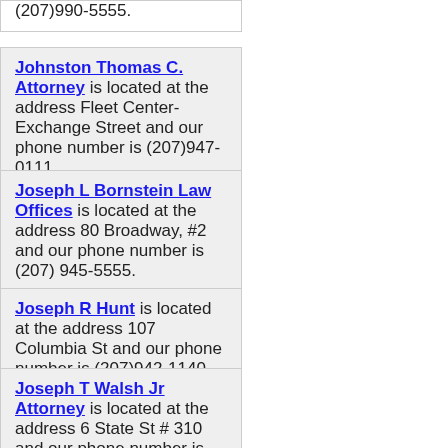(207)990-5555.
Johnston Thomas C. Attorney is located at the address Fleet Center-Exchange Street and our phone number is (207)947-0111.
Joseph L Bornstein Law Offices is located at the address 80 Broadway, #2 and our phone number is (207) 945-5555.
Joseph R Hunt is located at the address 107 Columbia St and our phone number is (207)942-1140.
Joseph T Walsh Jr Attorney is located at the address 6 State St # 310 and our phone number is (207)942-5301.